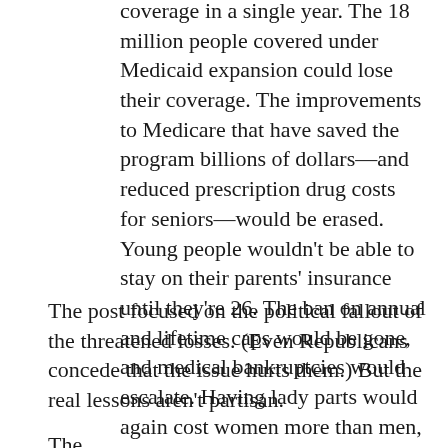coverage in a single year. The 18 million people covered under Medicaid expansion could lose their coverage. The improvements to Medicare that have saved the program billions of dollars—and reduced prescription drug costs for seniors—would be erased. Young people wouldn't be able to stay on their parents' insurance until they're 26. The ban on annual and lifetime caps would be gone, and medical bankruptcies would escalate. Having lady parts would again cost women more than men, and being over age 50 would cost everyone more again. Limits on out-of-pocket costs would be gone. The tax credits that 9 million people are receiving to help them pay premiums would be gone.
The post focused on the political fallout of the threatened losses. (Even Republicans concede that the issue hurts them.) But the real lessons aren't partisan.
The...